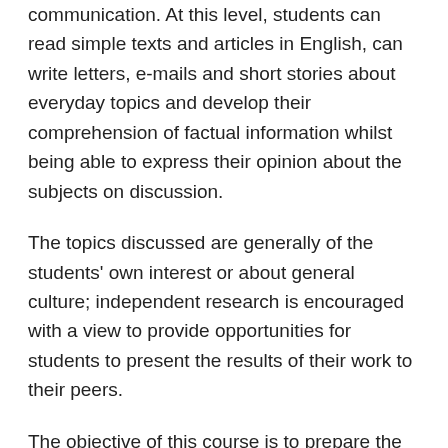communication. At this level, students can read simple texts and articles in English, can write letters, e-mails and short stories about everyday topics and develop their comprehension of factual information whilst being able to express their opinion about the subjects on discussion.
The topics discussed are generally of the students' own interest or about general culture; independent research is encouraged with a view to provide opportunities for students to present the results of their work to their peers.
The objective of this course is to prepare the students to take the Cambridge PET Exam, however, as we strive to inspire and motivate our students at all levels, our